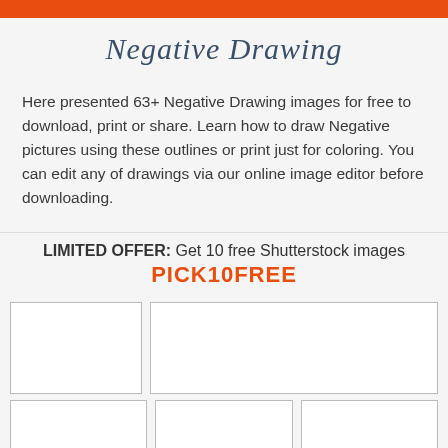Negative Drawing
Here presented 63+ Negative Drawing images for free to download, print or share. Learn how to draw Negative pictures using these outlines or print just for coloring. You can edit any of drawings via our online image editor before downloading.
LIMITED OFFER: Get 10 free Shutterstock images
PICK10FREE
[Figure (other): Empty image placeholder box, large left]
[Figure (other): Empty image placeholder box, large right]
[Figure (other): Empty image placeholder box, small left]
[Figure (other): Empty image placeholder box, small center]
[Figure (other): Empty image placeholder box, small right]